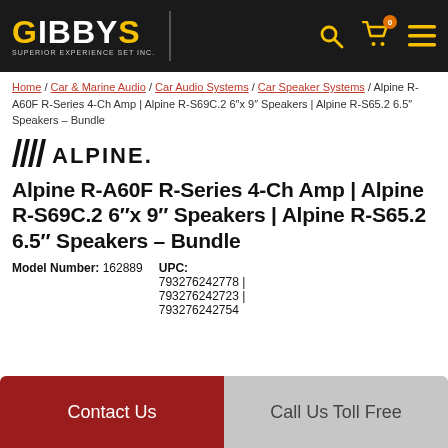GIBBYS | Navigation bar with search, cart (0), and menu icons
Home / Car & Marine Audio / Car Audio Systems / Car Speaker Systems / Alpine R-A60F R-Series 4-Ch Amp | Alpine R-S69C.2 6″x 9″ Speakers | Alpine R-S65.2 6.5″ Speakers – Bundle
[Figure (logo): Alpine brand logo with diagonal hash marks and ALPINE wordmark in black]
Alpine R-A60F R-Series 4-Ch Amp | Alpine R-S69C.2 6″x 9″ Speakers | Alpine R-S65.2 6.5″ Speakers – Bundle
Model Number: 162889
UPC: 793276242778 | 793276242723 | 793276242754
Contact Us
Call Us Toll Free